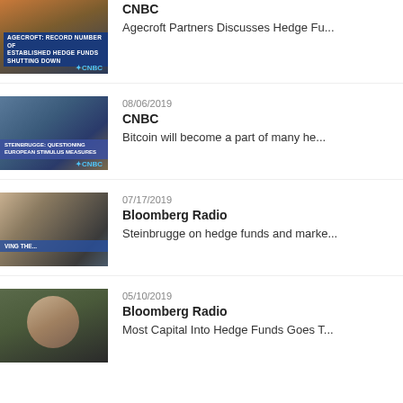CNBC
Agecroft Partners Discusses Hedge Fu...
08/06/2019
CNBC
Bitcoin will become a part of many he...
07/17/2019
Bloomberg Radio
Steinbrugge on hedge funds and marke...
05/10/2019
Bloomberg Radio
Most Capital Into Hedge Funds Goes T...